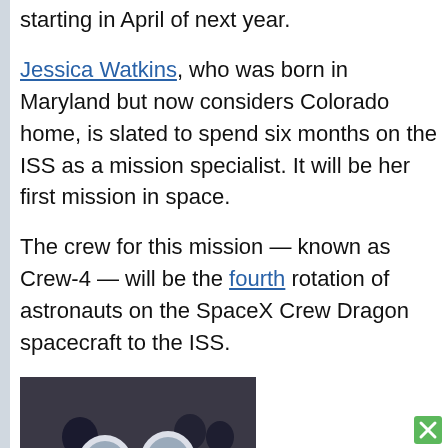starting in April of next year.
Jessica Watkins, who was born in Maryland but now considers Colorado home, is slated to spend six months on the ISS as a mission specialist. It will be her first mission in space.
The crew for this mission — known as Crew-4 — will be the fourth rotation of astronauts on the SpaceX Crew Dragon spacecraft to the ISS.
[Figure (photo): Two astronauts in white SpaceX spacesuits walking, with people in dark clothing behind them.]
Watkins joined the ranks of NASA astronauts in